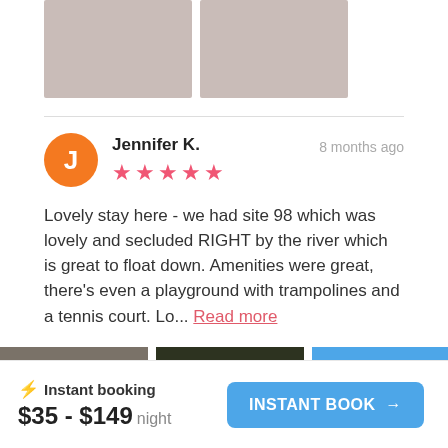[Figure (photo): Two placeholder image boxes with beige/taupe color at top of page]
Jennifer K.
★★★★★
8 months ago
Lovely stay here - we had site 98 which was lovely and secluded RIGHT by the river which is great to float down. Amenities were great, there's even a playground with trampolines and a tennis court. Lo... Read more
[Figure (photo): Three image thumbnails: gray, dark green, and blue]
⚡ Instant booking
$35 - $149 night
INSTANT BOOK →